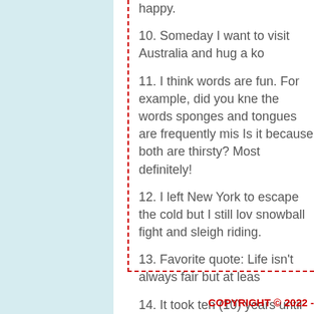10. Someday I want to visit Australia and hug a ko
11. I think words are fun. For example, did you kne the words sponges and tongues are frequently mis Is it because both are thirsty? Most definitely!
12. I left New York to escape the cold but I still lov snowball fight and sleigh riding.
13. Favorite quote: Life isn't always fair but at leas
14. It took ten (10) years until my first book was pu
15. I'm such a big sci-fi fan that I'm practically a "m specialist.
COPYRIGHT © 2022 -